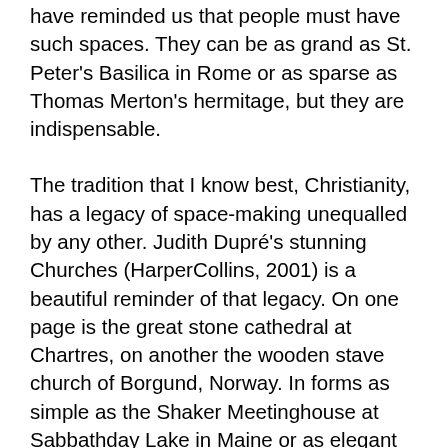have reminded us that people must have such spaces. They can be as grand as St. Peter's Basilica in Rome or as sparse as Thomas Merton's hermitage, but they are indispensable.
The tradition that I know best, Christianity, has a legacy of space-making unequalled by any other. Judith Dupré's stunning Churches (HarperCollins, 2001) is a beautiful reminder of that legacy. On one page is the great stone cathedral at Chartres, on another the wooden stave church of Borgund, Norway. In forms as simple as the Shaker Meetinghouse at Sabbathday Lake in Maine or as elegant as Louis IX's Sainte-Chapelle in Paris, this tradition has opened space for human being in remarkable ways.
Now, in the face of pressures to destroy and crowd out, we must reclaim our commitment to care for and create. More is required of us than generic replicas of New England village churches or Gothic clichés. Soon